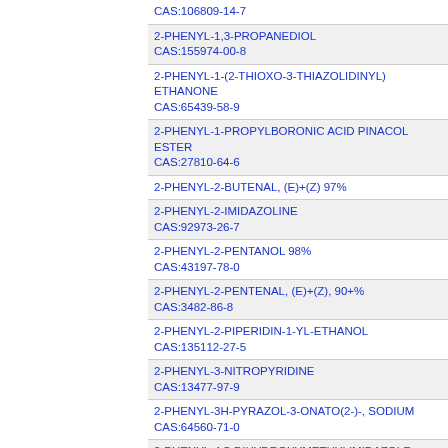CAS:106809-14-7
2-PHENYL-1,3-PROPANEDIOL
CAS:155974-00-8
2-PHENYL-1-(2-THIOXO-3-THIAZOLIDINYL) ETHANONE
CAS:65439-58-9
2-PHENYL-1-PROPYLBORONIC ACID PINACOL ESTER
CAS:27810-64-6
2-PHENYL-2-BUTENAL, (E)+(Z) 97%
2-PHENYL-2-IMIDAZOLINE
CAS:92973-26-7
2-PHENYL-2-PENTANOL 98%
CAS:43197-78-0
2-PHENYL-2-PENTENAL, (E)+(Z), 90+%
CAS:3482-86-8
2-PHENYL-2-PIPERIDIN-1-YL-ETHANOL
CAS:135112-27-5
2-PHENYL-3-NITROPYRIDINE
CAS:13477-97-9
2-PHENYL-3H-PYRAZOL-3-ONATO(2-)-, SODIUM
CAS:64560-71-0
2-PHENYL-4,5-DIHYDROXYMETHYLIMIDAZOLE
CAS:61302-47-4
2-PHENYL-4-PENTEN-2-OL 98%
CAS:4648-54-8
2-PHENYL-5,6,7,8-TETRAHYDRO-IMIDAZO[1,2-A]PYRIDINE
CAS:125911-68-4
2-PHENYL-9,10-DI(NAPHTHALEN-2-YL)ANTHRACENE